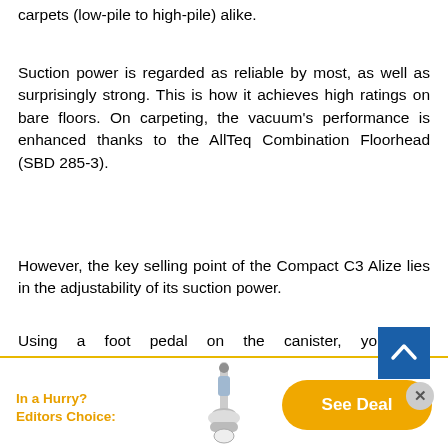carpets (low-pile to high-pile) alike.
Suction power is regarded as reliable by most, as well as surprisingly strong. This is how it achieves high ratings on bare floors. On carpeting, the vacuum's performance is enhanced thanks to the AllTeq Combination Floorhead (SBD 285-3).
However, the key selling point of the Compact C3 Alize lies in the adjustability of its suction power.
Using a foot pedal on the canister, you can choose from six available cleaning modes tailored for different surfaces and cleaning tasks. There is a special mode for bare floors, another one for carpets, one for upholstery, curtains, and so on. Thus, the Miele Compact C3 Alize isn't just one of the best vacuum cleaners for laminate
[Figure (infographic): Back-to-top arrow button (blue square with white chevron)]
[Figure (infographic): Close (X) circular button]
In a Hurry?
Editors Choice:
[Figure (photo): Vacuum cleaner product image]
See Deal